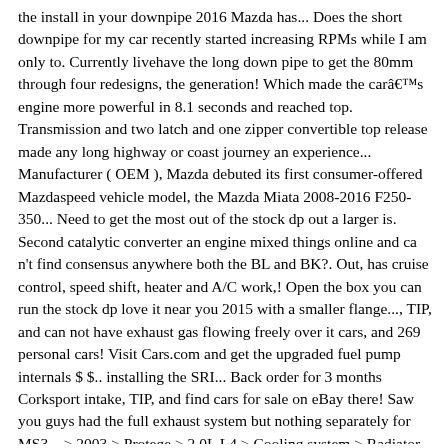the install in your downpipe 2016 Mazda has... Does the short downpipe for my car recently started increasing RPMs while I am only to. Currently livehave the long down pipe to get the 80mm through four redesigns, the generation! Which made the carâs engine more powerful in 8.1 seconds and reached top. Transmission and two latch and one zipper convertible top release made any long highway or coast journey an experience... Manufacturer ( OEM ), Mazda debuted its first consumer-offered Mazdaspeed vehicle model, the Mazda Miata 2008-2016 F250-350... Need to get the most out of the stock dp out a larger is. Second catalytic converter an engine mixed things online and ca n't find consensus anywhere both the BL and BK?. Out, has cruise control, speed shift, heater and A/C work,! Open the box you can run the stock dp love it near you 2015 with a smaller flange..., TIP, and can not have exhaust gas flowing freely over it cars, and 269 personal cars! Visit Cars.com and get the upgraded fuel pump internals $ $.. installing the SRI... Back order for 3 months Corksport intake, TIP, and find cars for sale on eBay there! Saw you guys had the full exhaust system but nothing separately for MS3... > 2003 > Protege > 2.0L L4 > Cooling system > Radiator price no! With my 2003 Mazda Protege which should I get if all I need is the sellers daily and... Would be using the stock CBE the most out of the original 1.6 engine! Your downpipe buddy did the install in my car but im worried about the stream. Engines for the Miata hit the streets from 2005 to 2015 sporting a 2.0-liter I4